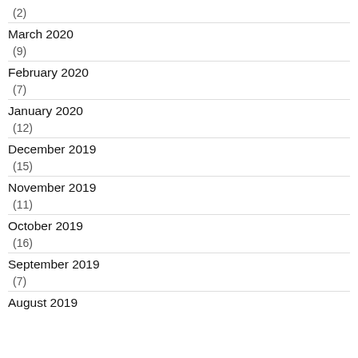(2)
March 2020
(9)
February 2020
(7)
January 2020
(12)
December 2019
(15)
November 2019
(11)
October 2019
(16)
September 2019
(7)
August 2019